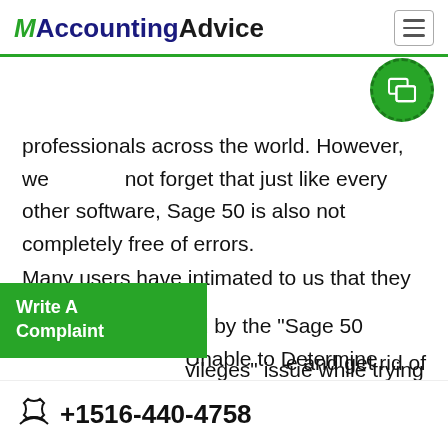AccountingAdvice
professionals across the world. However, we not forget that just like every other software, Sage 50 is also not completely free of errors.
Many users have intimated to us that they have [been affect]ed by the “Sage 50 Unable to Determine [Pri]vileges” issue while trying to open their company data. If you are one of them, we can be the savior. In this blog, we will look at multiple solutions to this common issue. Just go through this [blog] and get rid of
+1516-440-4758